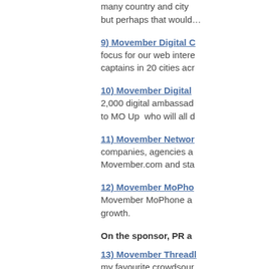many country and city … but perhaps that would…
9) Movember Digital C… focus for our web intere… captains in 20 cities acr…
10) Movember Digital … 2,000 digital ambassad… to MO Up who will all d…
11) Movember Networ… companies, agencies a… Movember.com and sta…
12) Movember MoPho… Movember MoPhone a… growth.
On the sponsor, PR a…
13) Movember Threadl… my favourite crowdsour… T-shirts you'd ever wan…
14) Movember Hockey … front men is as Canadia…